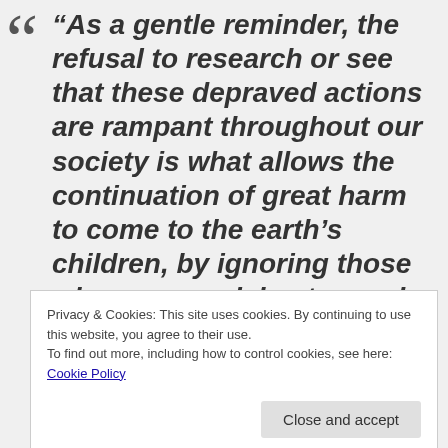“As a gentle reminder, the refusal to research or see that these depraved actions are rampant throughout our society is what allows the continuation of great harm to come to the earth’s children, by ignoring those who are raped, beaten and killed every day by their handlers
Privacy & Cookies: This site uses cookies. By continuing to use this website, you agree to their use. To find out more, including how to control cookies, see here: Cookie Policy
Close and accept
damaging acts to continue which is